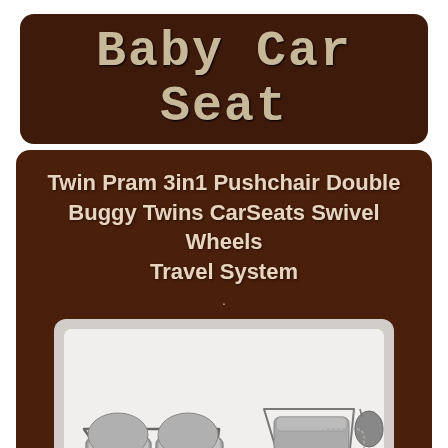Baby Car Seat
Twin Pram 3in1 Pushchair Double Buggy Twins CarSeats Swivel Wheels Travel System
[Figure (photo): Product listing photo showing a twin pram/pushchair in multiple configurations: pram mode with two bassinets, stroller/pushchair mode, double buggy mode, and car seat attachment. Color 09 (grey). eBay watermark visible.]
COLOR 09